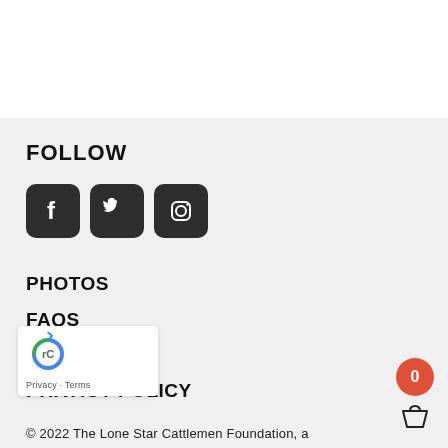FOLLOW
[Figure (infographic): Three social media icon buttons: Facebook (f), Twitter (bird), Instagram (camera) — square dark rounded buttons]
PHOTOS
FAQS
SUPPORT US
PRIVACY POLICY
TERMS OF SERVICE
[Figure (other): Google reCAPTCHA badge with logo and Privacy · Terms links]
[Figure (other): Shopping cart icon with red badge showing 0]
© 2022 The Lone Star Cattlemen Foundation, a